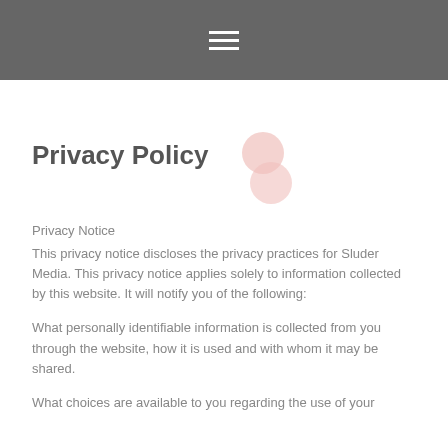≡
Privacy Policy
Privacy Notice
This privacy notice discloses the privacy practices for Sluder Media. This privacy notice applies solely to information collected by this website. It will notify you of the following:
What personally identifiable information is collected from you through the website, how it is used and with whom it may be shared.
What choices are available to you regarding the use of your